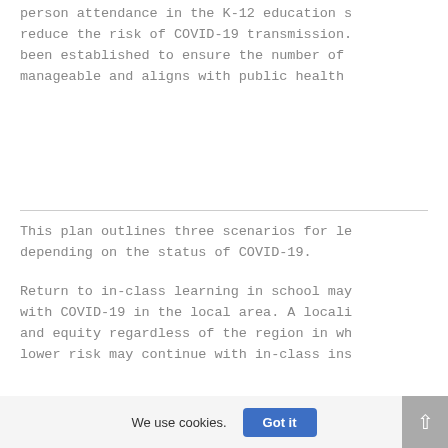person attendance in the K-12 education s reduce the risk of COVID-19 transmission. been established to ensure the number of manageable and aligns with public health
This plan outlines three scenarios for le depending on the status of COVID-19.
Return to in-class learning in school may with COVID-19 in the local area. A locali and equity regardless of the region in wh lower risk may continue with in-class ins
We use cookies. Got it